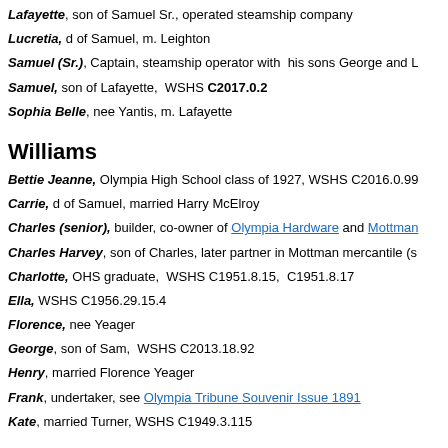Lafayette, son of Samuel Sr., operated steamship company
Lucretia, d of Samuel, m. Leighton
Samuel (Sr.), Captain, steamship operator with his sons George and L
Samuel, son of Lafayette, WSHS C2017.0.2
Sophia Belle, nee Yantis, m. Lafayette
Williams
Bettie Jeanne, Olympia High School class of 1927, WSHS C2016.0.99
Carrie, d of Samuel, married Harry McElroy
Charles (senior), builder, co-owner of Olympia Hardware and Mottman
Charles Harvey, son of Charles, later partner in Mottman mercantile (s
Charlotte, OHS graduate, WSHS C1951.8.15, C1951.8.17
Ella, WSHS C1956.29.15.4
Florence, nee Yeager
George, son of Sam, WSHS C2013.18.92
Henry, married Florence Yeager
Frank, undertaker, see Olympia Tribune Souvenir Issue 1891
Kate, married Turner, WSHS C1949.3.115